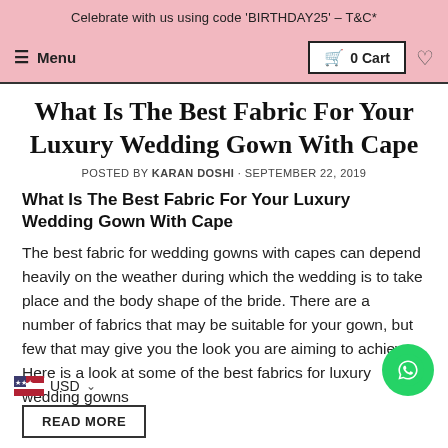Celebrate with us using code 'BIRTHDAY25' – T&C*
Menu   0 Cart ♡
What Is The Best Fabric For Your Luxury Wedding Gown With Cape
POSTED BY KARAN DOSHI · SEPTEMBER 22, 2019
What Is The Best Fabric For Your Luxury Wedding Gown With Cape
The best fabric for wedding gowns with capes can depend heavily on the weather during which the wedding is to take place and the body shape of the bride. There are a number of fabrics that may be suitable for your gown, but few that may give you the look you are aiming to achieve. Here is a look at some of the best fabrics for luxury wedding gowns